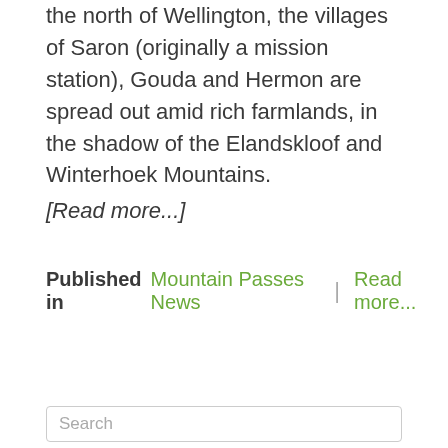the north of Wellington, the villages of Saron (originally a mission station), Gouda and Hermon are spread out amid rich farmlands, in the shadow of the Elandskloof and Winterhoek Mountains.
[Read more...]
Published in  Mountain Passes News  |  Read more...